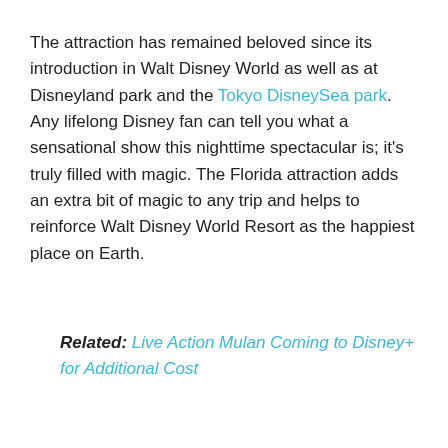The attraction has remained beloved since its introduction in Walt Disney World as well as at Disneyland park and the Tokyo DisneySea park. Any lifelong Disney fan can tell you what a sensational show this nighttime spectacular is; it's truly filled with magic. The Florida attraction adds an extra bit of magic to any trip and helps to reinforce Walt Disney World Resort as the happiest place on Earth.
Related: Live Action Mulan Coming to Disney+ for Additional Cost